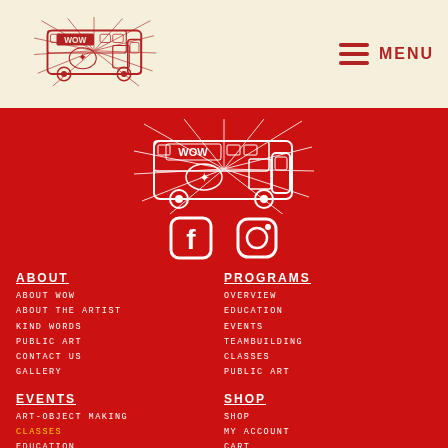[Figure (logo): WOW art bus illustration in red on cream background (header)]
MENU
[Figure (illustration): WOW art bus illustration in white/outline on red background]
[Figure (logo): Facebook and Instagram social media icons in white]
ABOUT
ABOUT WOW
ABOUT THE ARTIST
KIND WORDS
PUBLIC ART
CONTACT US
GALLERY
PROGRAMS
OVERVIEW
EDUCATION
EVENTS
TEAMBUILDING
CLASSES
PUBLIC ART
EVENTS
ART-OBJECT MAKING
CLASSES
EDUCATION
PUBLIC ART
SHOP
SHOP
MY ACCOUNT
CART
CHECKOUT